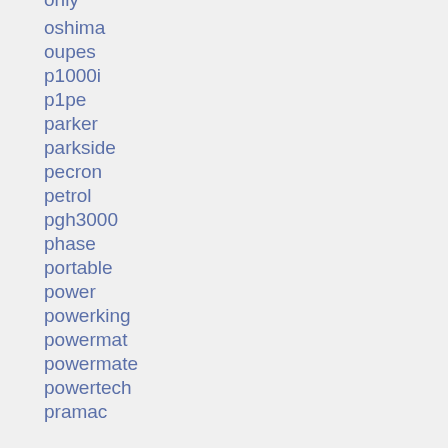only
oshima
oupes
p1000i
p1pe
parker
parkside
pecron
petrol
pgh3000
phase
portable
power
powerking
powermat
powermate
powertech
pramac